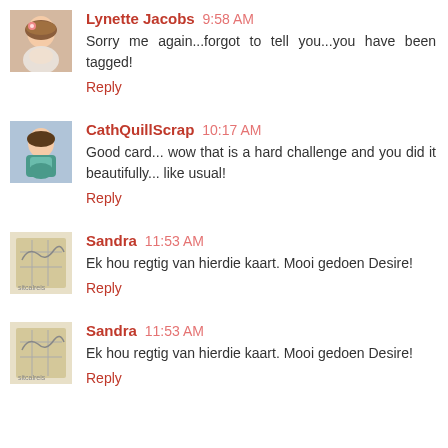Lynette Jacobs 9:58 AM
Sorry me again...forgot to tell you...you have been tagged!
Reply
CathQuillScrap 10:17 AM
Good card... wow that is a hard challenge and you did it beautifully... like usual!
Reply
Sandra 11:53 AM
Ek hou regtig van hierdie kaart. Mooi gedoen Desire!
Reply
Sandra 11:53 AM
Ek hou regtig van hierdie kaart. Mooi gedoen Desire!
Reply